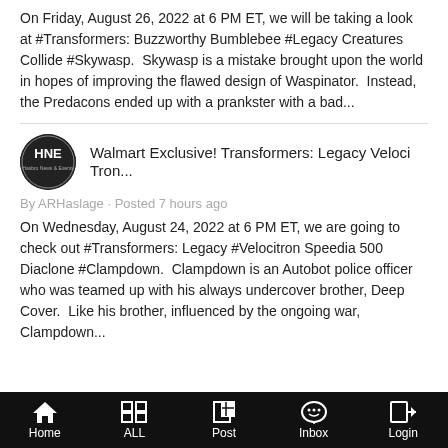On Friday, August 26, 2022 at 6 PM ET, we will be taking a look at #Transformers: Buzzworthy Bumblebee #Legacy Creatures Collide #Skywasp. Skywasp is a mistake brought upon the world in hopes of improving the flawed design of Waspinator. Instead, the Predacons ended up with a prankster with a bad...
Walmart Exclusive! Transformers: Legacy Veloci Tron...
By ARHaslage · Posted 7 hours ago
On Wednesday, August 24, 2022 at 6 PM ET, we are going to check out #Transformers: Legacy #Velocitron Speedia 500 Diaclone #Clampdown. Clampdown is an Autobot police officer who was teamed up with his always undercover brother, Deep Cover. Like his brother, influenced by the ongoing war, Clampdown...
Home  ALL  Post  Inbox  Login